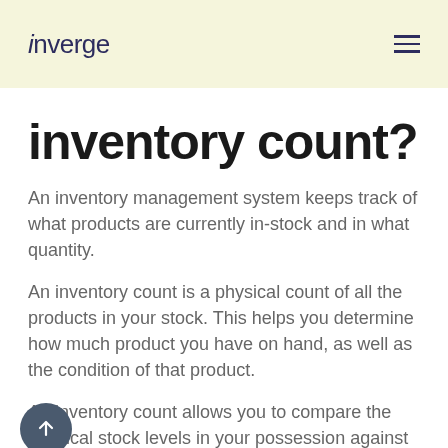inverge
inventory count?
An inventory management system keeps track of what products are currently in-stock and in what quantity.
An inventory count is a physical count of all the products in your stock. This helps you determine how much product you have on hand, as well as the condition of that product.
An inventory count allows you to compare the physical stock levels in your possession against the records you have kept in your